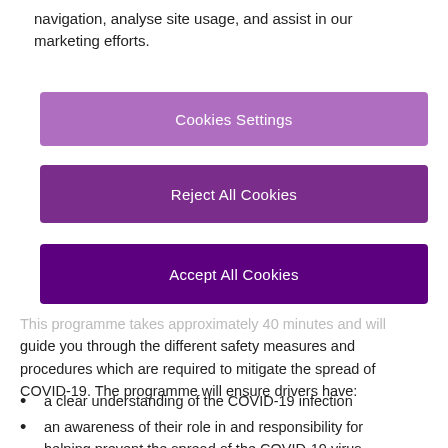navigation, analyse site usage, and assist in our marketing efforts.
Cookies Settings
Reject All Cookies
Accept All Cookies
This programme takes approximately 40 minutes and will guide you through the different safety measures and procedures which are required to mitigate the spread of COVID-19. The programme will ensure drivers have:
a clear understanding of the COVID-19 infection
an awareness of their role in and responsibility for helping prevent the spread of the COVID-19 virus